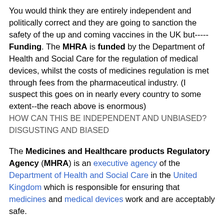You would think they are entirely independent and politically correct and they are going to sanction the safety of the up and coming vaccines in the UK but----- Funding. The MHRA is funded by the Department of Health and Social Care for the regulation of medical devices, whilst the costs of medicines regulation is met through fees from the pharmaceutical industry. (I suspect this goes on in nearly every country to some extent--the reach above is enormous) HOW CAN THIS BE INDEPENDENT AND UNBIASED? DISGUSTING AND BIASED
The Medicines and Healthcare products Regulatory Agency (MHRA) is an executive agency of the Department of Health and Social Care in the United Kingdom which is responsible for ensuring that medicines and medical devices work and are acceptably safe.
The MHRA was formed in 2003 with the merger of the Medicines Control Agency (MCA) and the Medical Devices Agency (MDA). In April 2013, it merged with